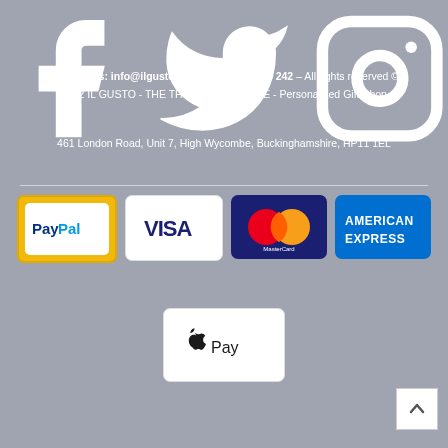[Figure (illustration): Social media icons: Facebook, Twitter, Instagram in white]
Contact Us: info@ilgusto.uk.com / 01494 448 242 - All rights reserved © 2022 IL GUSTO - THE THEATRE OF TASTE - Personalised Gift Shop
461 London Road, Unit 7, High Wycombe, Buckinghamshire, HP11 1EL
[Figure (logo): Payment method logos: PayPal, Visa, MasterCard, American Express, Apple Pay]